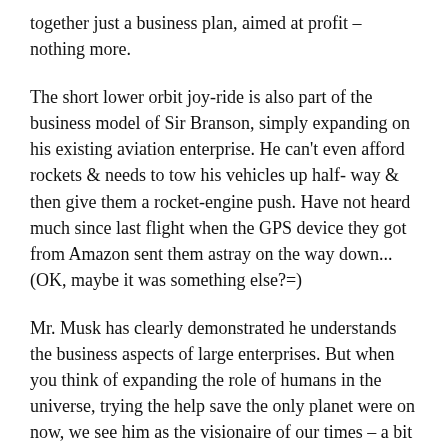together just a business plan, aimed at profit – nothing more.
The short lower orbit joy-ride is also part of the business model of Sir Branson, simply expanding on his existing aviation enterprise. He can't even afford rockets & needs to tow his vehicles up half- way & then give them a rocket-engine push. Have not heard much since last flight when the GPS device they got from Amazon sent them astray on the way down...(OK, maybe it was something else?=)
Mr. Musk has clearly demonstrated he understands the business aspects of large enterprises. But when you think of expanding the role of humans in the universe, trying the help save the only planet were on now, we see him as the visionaire of our times – a bit like Michelangelo lived in his times. Both did/are going to enjoy success & failure; suffer abuse